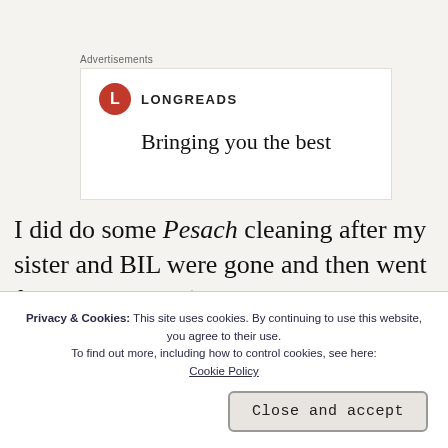Advertisements
[Figure (logo): Longreads logo with red circle containing 'L' and the text 'LONGREADS' beside it, followed by tagline 'Bringing you the best']
I did do some Pesach cleaning after my sister and BIL were gone and then went for a brisk walk (no
Privacy & Cookies: This site uses cookies. By continuing to use this website, you agree to their use. To find out more, including how to control cookies, see here: Cookie Policy
Close and accept
COVID), so most people won't have heard it. I feel a